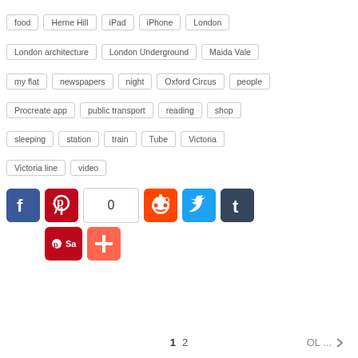food | Herne Hill | iPad | iPhone | London
London architecture | London Underground | Maida Vale
my flat | newspapers | night | Oxford Circus | people
Procreate app | public transport | reading | shop
sleeping | station | train | Tube | Victoria
Victoria line | video
[Figure (infographic): Social share buttons: Facebook (blue), Pinterest (red), share count showing 0, Reddit (orange), Twitter (blue), Tumblr (dark), Pinterest Save button (red), AddThis plus button (orange-red)]
1  2  OL... >